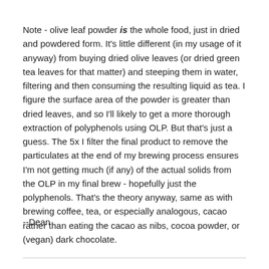Note - olive leaf powder is the whole food, just in dried and powdered form. It's little different (in my usage of it anyway) from buying dried olive leaves (or dried green tea leaves for that matter) and steeping them in water, filtering and then consuming the resulting liquid as tea. I figure the surface area of the powder is greater than dried leaves, and so I'll likely to get a more thorough extraction of polyphenols using OLP. But that's just a guess. The 5x I filter the final product to remove the particulates at the end of my brewing process ensures I'm not getting much (if any) of the actual solids from the OLP in my final brew - hopefully just the polyphenols. That's the theory anyway, same as with brewing coffee, tea, or especially analogous, cacao rather than eating the cacao as nibs, cocoa powder, or (vegan) dark chocolate.
--Dean